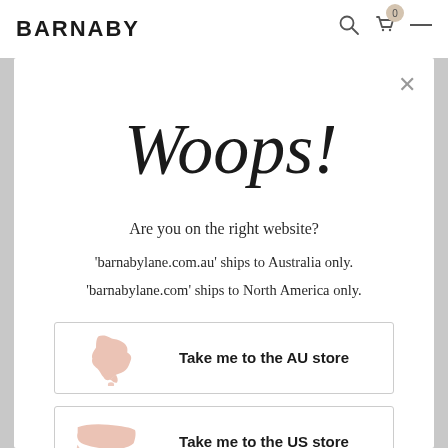BARNABY
[Figure (illustration): Handwritten cursive script reading 'Woops!']
Are you on the right website?
'barnabylane.com.au' ships to Australia only.
'barnabylane.com' ships to North America only.
[Figure (illustration): Button with pink Australia map silhouette and text 'Take me to the AU store']
[Figure (illustration): Button with pink USA map silhouette and text 'Take me to the US store']